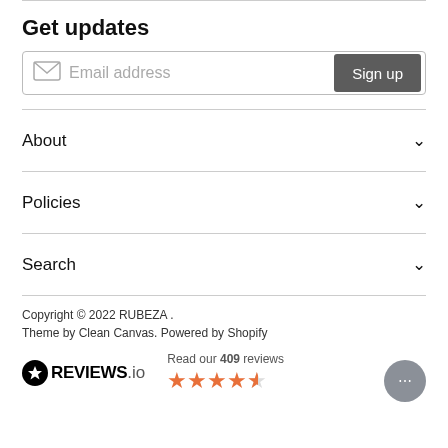Get updates
[Figure (other): Email address input field with envelope icon and Sign up button]
About
Policies
Search
Copyright © 2022 RUBEZA . Theme by Clean Canvas. Powered by Shopify
[Figure (logo): REVIEWS.io logo with star badge and text 'Read our 409 reviews' with 4.5 star rating]
[Figure (other): Chat bubble button with ellipsis]